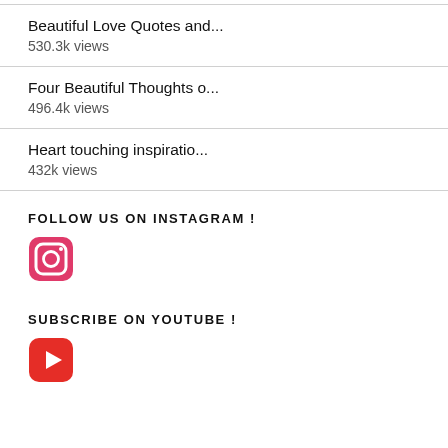Beautiful Love Quotes and...
530.3k views
Four Beautiful Thoughts o...
496.4k views
Heart touching inspiratio...
432k views
FOLLOW US ON INSTAGRAM !
[Figure (logo): Instagram logo icon — pink/red rounded square with camera outline]
SUBSCRIBE ON YOUTUBE !
[Figure (logo): YouTube logo icon — red rounded rectangle with white play triangle]